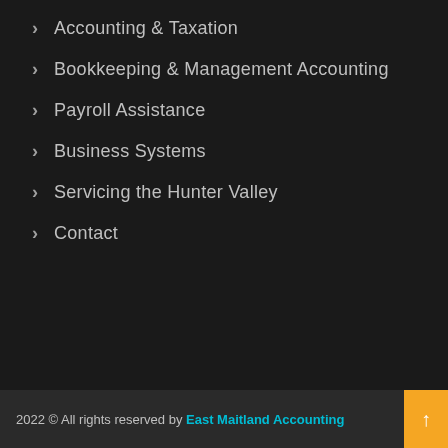Accounting & Taxation
Bookkeeping & Management Accounting
Payroll Assistance
Business Systems
Servicing the Hunter Valley
Contact
2022 © All rights reserved by East Maitland Accounting